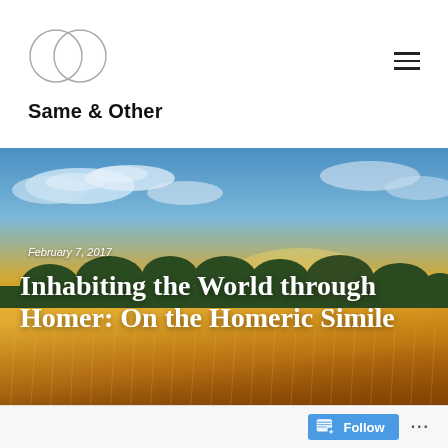[Figure (logo): Two overlapping circles forming a Venn diagram logo for Same & Other blog]
Same & Other
[Figure (photo): A golden wheat field at sunset with trees on the horizon and a dramatic blue and yellow sky with clouds]
February 7, 2017
Inhabiting the World through Homer: On the Homeric Simile
Follow ...